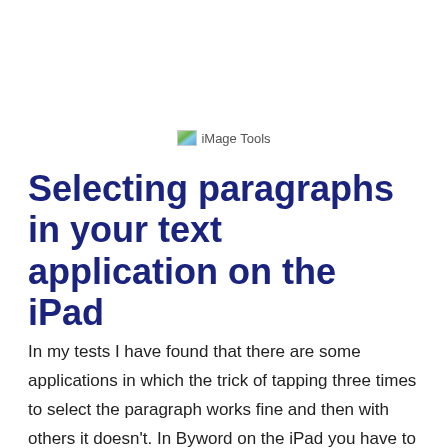[Figure (logo): iMage Tools logo with small landscape icon and text label]
Selecting paragraphs in your text application on the iPad
In my tests I have found that there are some applications in which the trick of tapping three times to select the paragraph works fine and then with others it doesn't. In Byword on the iPad you have to get the triple tap just right and sometimes it feels like it can take a few